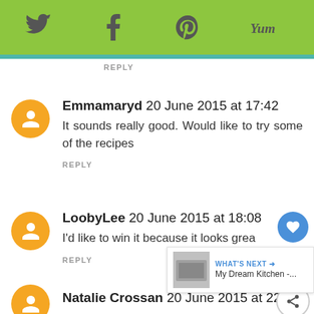[Figure (infographic): Green top navigation bar with social media icons: Twitter bird, Facebook f, Pinterest p, Yummly Yum]
REPLY
Emmamaryd 20 June 2015 at 17:42
It sounds really good. Would like to try some of the recipes
REPLY
LoobyLee 20 June 2015 at 18:08
I'd like to win it because it looks grea
REPLY
Natalie Crossan 20 June 2015 at 22:07